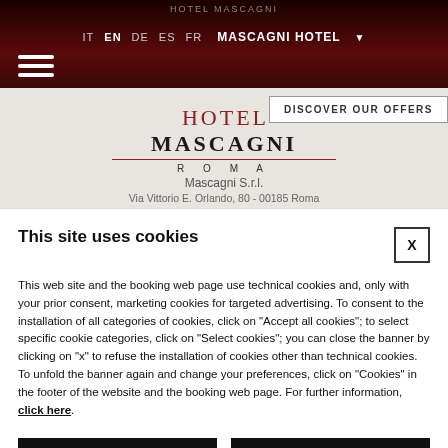[Figure (screenshot): Hotel Mascagni website header with dark red/maroon navigation bar showing language options IT, EN, DE, ES, FR and MASCAGNI HOTEL text, hamburger menu icon]
IT  EN  DE  ES  FR  MASCAGNI HOTEL
[Figure (logo): Hotel Mascagni Roma logo with red 'HOTEL' text and dark 'MASCAGNI' text above 'ROMA' with decorative underline]
DISCOVER OUR OFFERS
Mascagni S.r.l.
Via Vittorio E. Orlando, 80 - 00185 Roma
This site uses cookies
This web site and the booking web page use technical cookies and, only with your prior consent, marketing cookies for targeted advertising. To consent to the installation of all categories of cookies, click on "Accept all cookies"; to select specific cookie categories, click on "Select cookies"; you can close the banner by clicking on "x" to refuse the installation of cookies other than technical cookies. To unfold the banner again and change your preferences, click on "Cookies" in the footer of the website and the booking web page. For further information, click here.
Select cookies
Accept all cookies